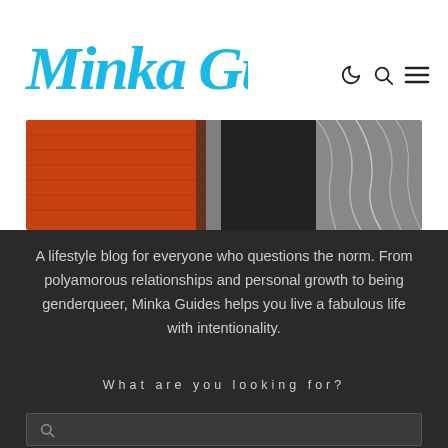Minka Guides
[Figure (photo): Hero image showing orange knit fabric on the left and flowing light-colored hair on the right against a dark background]
A lifestyle blog for everyone who questions the norm. From polyamorous relationships and personal growth to being genderqueer, Minka Guides helps you live a fabulous life with intentionality.
What are you looking for?